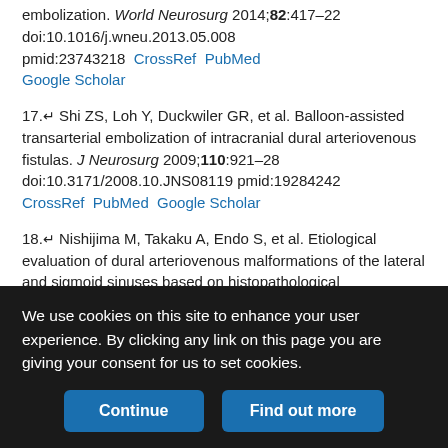embolization. World Neurosurg 2014;82:417–22 doi:10.1016/j.wneu.2013.05.008 pmid:23743218 CrossRef PubMed Google Scholar
17.↵ Shi ZS, Loh Y, Duckwiler GR, et al. Balloon-assisted transarterial embolization of intracranial dural arteriovenous fistulas. J Neurosurg 2009;110:921–28 doi:10.3171/2008.10.JNS08119 pmid:19284242 CrossRef PubMed Google Scholar
18.↵ Nishijima M, Takaku A, Endo S, et al. Etiological evaluation of dural arteriovenous malformations of the lateral and sigmoid sinuses based on histopathological examinations. J Neurosurg 1992;76:600–06 doi:10.3171/jns.1992.76.4.0600 pmid:1545252 CrossRef PubMed Google Scholar
19.↵ Hamada Y, Goto K, Inoue T, et al. Histopathological aspects of dural arteriovenous fistulas in the transverse-sigmoid sinus region in nine
We use cookies on this site to enhance your user experience. By clicking any link on this page you are giving your consent for us to set cookies.